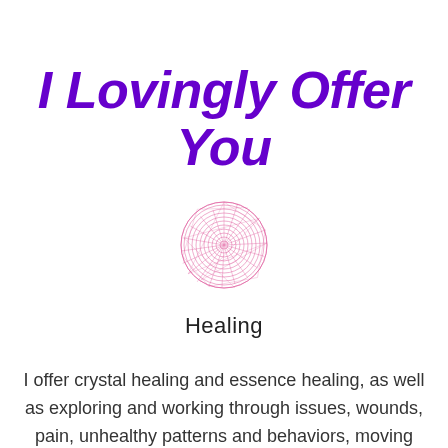I Lovingly Offer You
[Figure (illustration): A circular geometric mandala pattern drawn with thin pink lines, resembling a flower of life or sacred geometry web design, centered on the page.]
Healing
I offer crystal healing and essence healing, as well as exploring and working through issues, wounds, pain, unhealthy patterns and behaviors, moving into a joyful freedom using new tools, discoveries and understandings with which to walk the path of your